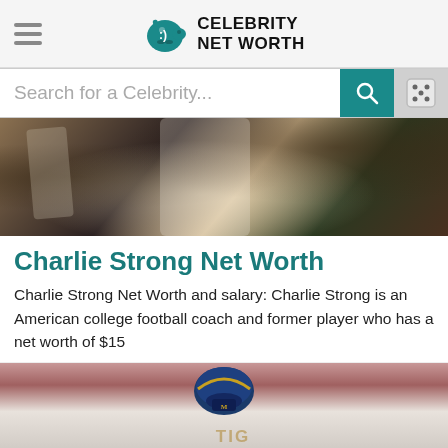Celebrity Net Worth
Search for a Celebrity...
[Figure (photo): Close-up photo of football players, showing jerseys and bodies cropped at neck level, dark and blurred background]
Charlie Strong Net Worth
Charlie Strong Net Worth and salary: Charlie Strong is an American college football coach and former player who has a net worth of $15
[Figure (photo): Photo showing a football helmet and jersey with partial text 'TIG' visible, pink/maroon background]